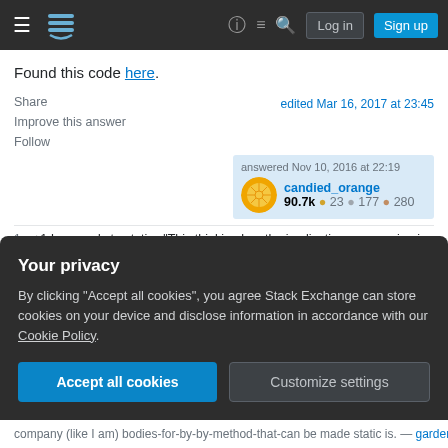Stack Exchange navigation bar with hamburger menu, logo, help, chat, search icons, Log in and Sign up buttons
Found this code here.
Share
Improve this answer
Follow
edited Mar 16, 2017 at 23:45
answered Nov 10, 2016 at 22:19
candied_orange
90.7k ● 23 ● 177 ● 280
+1 In regards to statics "This thinking has the implication arrow going in the wrong direction." is
Your privacy
By clicking "Accept all cookies", you agree Stack Exchange can store cookies on your device and disclose information in accordance with our Cookie Policy.
Accept all cookies
Customize settings
company (like I am) bodies-for-by-by-method-that-can be made static is. — gardenhead Mar 17, 2017 at 3:59